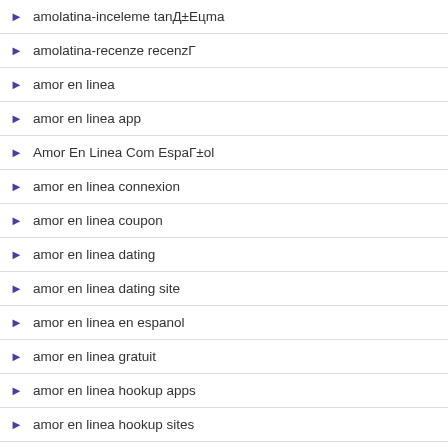amolatina-inceleme tanД±Eцma
amolatina-recenze recenzГ
amor en linea
amor en linea app
Amor En Linea Com EspaГ±ol
amor en linea connexion
amor en linea coupon
amor en linea dating
amor en linea dating site
amor en linea en espanol
amor en linea gratuit
amor en linea hookup apps
amor en linea hookup sites
Amor En Linea Letra
amor en linea login